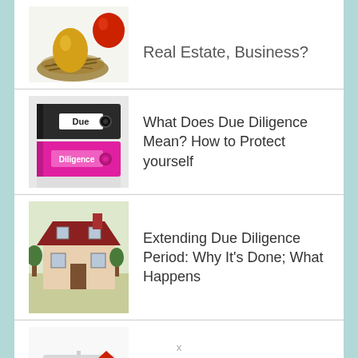[Figure (photo): Partial view of a nest with a golden egg and red object on white background]
Real Estate, Business?
[Figure (photo): Two binders stacked: black one labeled 'Due' and pink one labeled 'Diligence']
What Does Due Diligence Mean? How to Protect yourself
[Figure (photo): Vintage-style photo of a large house with lawn]
Extending Due Diligence Period: Why It's Done; What Happens
[Figure (illustration): Balance scale illustration with dollar sign on one side and a house on the other]
Who Benefits from a Reverse Mortgage? Taxes and Other Options
x